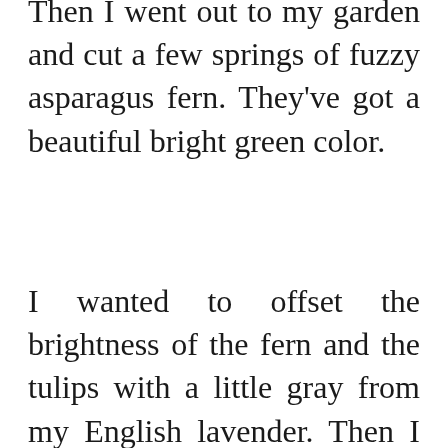Then I went out to my garden and cut a few springs of fuzzy asparagus fern. They've got a beautiful bright green color.
I wanted to offset the brightness of the fern and the tulips with a little gray from my English lavender. Then I simply stripped the lower leaves of the fern and lavender to put in my